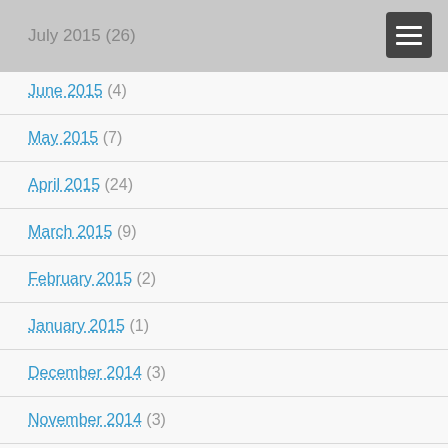July 2015 (26)
June 2015 (4)
May 2015 (7)
April 2015 (24)
March 2015 (9)
February 2015 (2)
January 2015 (1)
December 2014 (3)
November 2014 (3)
October 2014 (3)
September 2014 (2)